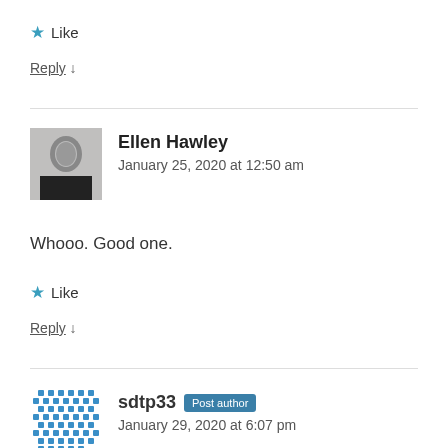★ Like
Reply ↓
[Figure (photo): Avatar photo of Ellen Hawley, showing a person with short grey hair]
Ellen Hawley
January 25, 2020 at 12:50 am
Whooo. Good one.
★ Like
Reply ↓
[Figure (illustration): Decorative avatar icon for sdtp33, a blue grid/diamond pattern]
sdtp33 Post author
January 29, 2020 at 6:07 pm